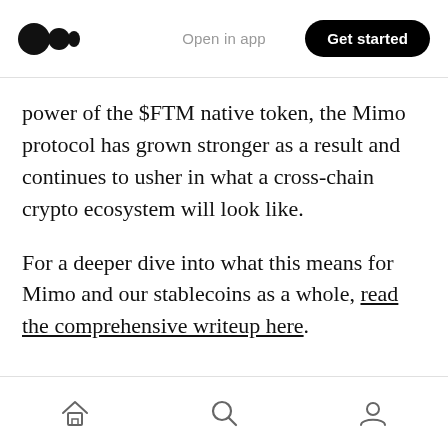Medium logo | Open in app | Get started
power of the $FTM native token, the Mimo protocol has grown stronger as a result and continues to usher in what a cross-chain crypto ecosystem will look like.
For a deeper dive into what this means for Mimo and our stablecoins as a whole, read the comprehensive writeup here.
Home | Search | Profile